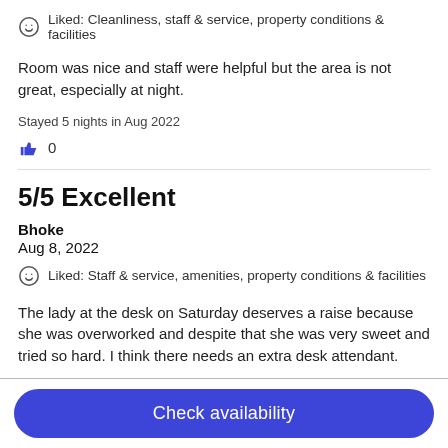Liked: Cleanliness, staff & service, property conditions & facilities
Room was nice and staff were helpful but the area is not great, especially at night.
Stayed 5 nights in Aug 2022
0
5/5 Excellent
Bhoke
Aug 8, 2022
Liked: Staff & service, amenities, property conditions & facilities
The lady at the desk on Saturday deserves a raise because she was overworked and despite that she was very sweet and tried so hard. I think there needs an extra desk attendant.
Stayed 1 night in Aug 2022
0
Check availability